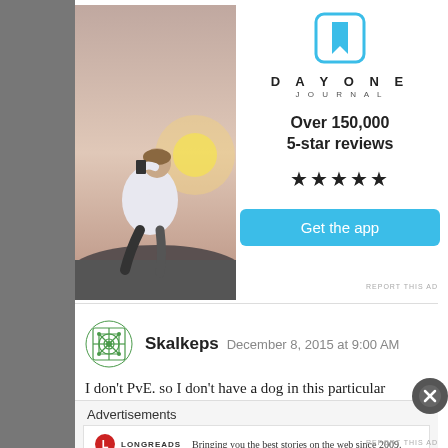[Figure (photo): Person sitting on rocks photographing sunset with a phone, wearing white t-shirt, viewed from behind]
[Figure (logo): Day One Journal app icon - cyan square with bookmark symbol]
D A Y O N E
JOURNAL
Over 150,000
5-star reviews
★★★★★
Get the app
REPORT THIS AD
Skalkeps  December 8, 2015 at 9:00 AM
I don't PvE. so I don't have a dog in this particular
Advertisements
[Figure (logo): Longreads logo - red circle with L]
LONGREADS
Bringing you the best stories on the web since 2009.
REPORT THIS AD